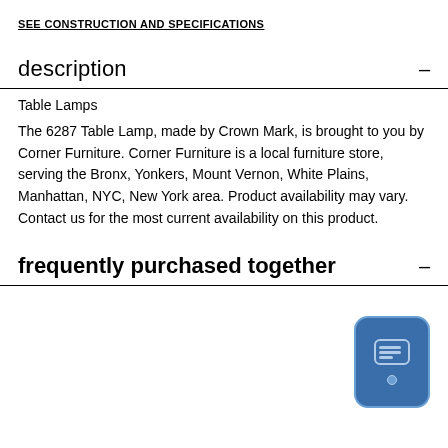SEE CONSTRUCTION AND SPECIFICATIONS
description
Table Lamps
The 6287 Table Lamp, made by Crown Mark, is brought to you by Corner Furniture. Corner Furniture is a local furniture store, serving the Bronx, Yonkers, Mount Vernon, White Plains, Manhattan, NYC, New York area. Product availability may vary. Contact us for the most current availability on this product.
frequently purchased together
[Figure (illustration): Blue chat/messaging widget icon with speech bubble and lines, rounded rectangle shape with a dot at the bottom]